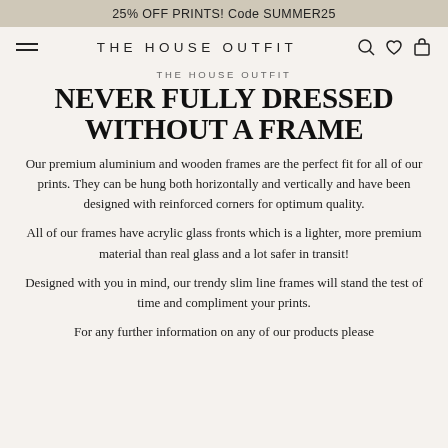25% OFF PRINTS! Code SUMMER25
[Figure (logo): Navigation bar with hamburger menu, THE HOUSE OUTFIT logo text, and search/heart/bag icons]
THE HOUSE OUTFIT
NEVER FULLY DRESSED WITHOUT A FRAME
Our premium aluminium and wooden frames are the perfect fit for all of our prints. They can be hung both horizontally and vertically and have been designed with reinforced corners for optimum quality.
All of our frames have acrylic glass fronts which is a lighter, more premium material than real glass and a lot safer in transit!
Designed with you in mind, our trendy slim line frames will stand the test of time and compliment your prints.
For any further information on any of our products please